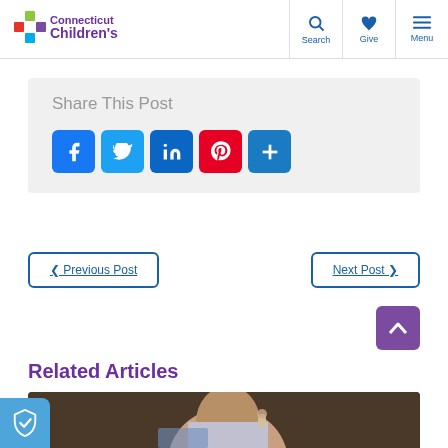Connecticut Children's — Search | Give | Menu
Share This Post
[Figure (infographic): Social share buttons: Facebook, Twitter, LinkedIn, Pinterest, More (+)]
< Previous Post
Next Post >
Related Articles
[Figure (photo): Photo of a child wearing a cochlear implant device, partially visible from shoulders up]